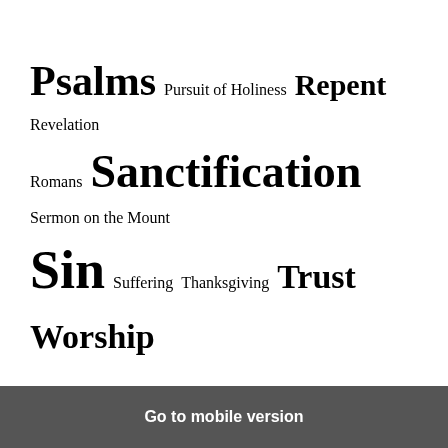Psalms  Pursuit of Holiness  Repent  Revelation  Romans  Sanctification  Sermon on the Mount  Sin  Suffering  Thanksgiving  Trust  Worship
[Figure (logo): WordPress logo circle icon]
Go to mobile version